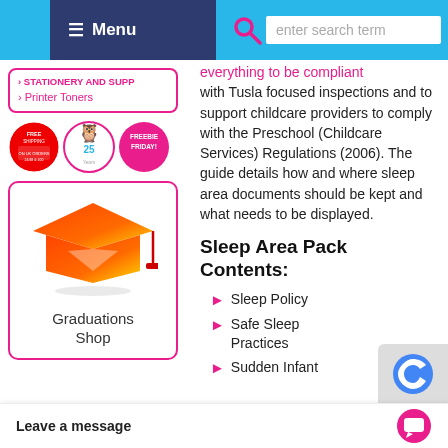Menu | enter search term
› STATIONERY AND SUPP
› Printer Toners
[Figure (illustration): Three circular badge icons: Free Shipping badge, a cartoon owl badge, and Freebie Friday badge]
[Figure (illustration): Graduations Shop box with a red/orange graduation cap icon and text 'Graduations Shop']
everything to be compliant with Tusla focused inspections and to support childcare providers to comply with the Preschool (Childcare Services) Regulations (2006). The guide details how and where sleep area documents should be kept and what needs to be displayed.
Sleep Area Pack Contents:
Sleep Policy
Safe Sleep Practices
Sudden Infant
Leave a message